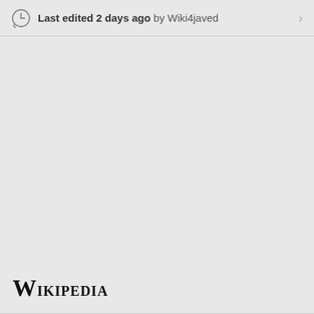Last edited 2 days ago by Wiki4javed
[Figure (logo): Wikipedia wordmark logo in serif small-caps font]